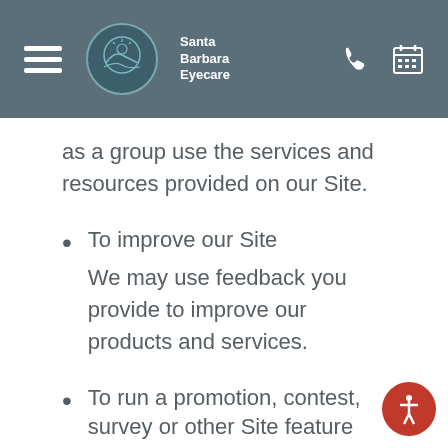Santa Barbara Eyecare
as a group use the services and resources provided on our Site.
To improve our Site
We may use feedback you provide to improve our products and services.
To run a promotion, contest, survey or other Site feature
To send Users information they agreed to receive about topics we think will b